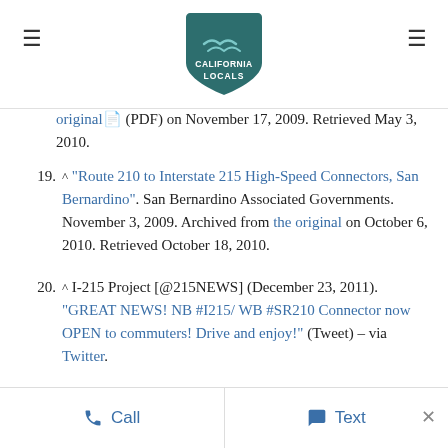California Locals [logo with hamburger menus]
original (PDF) on November 17, 2009. Retrieved May 3, 2010.
19. ^ "Route 210 to Interstate 215 High-Speed Connectors, San Bernardino". San Bernardino Associated Governments. November 3, 2009. Archived from the original on October 6, 2010. Retrieved October 18, 2010.
20. ^ I-215 Project [@215NEWS] (December 23, 2011). "GREAT NEWS! NB #I215/ WB #SR210 Connector now OPEN to commuters! Drive and enjoy!" (Tweet) – via Twitter.
Call   Text   ×